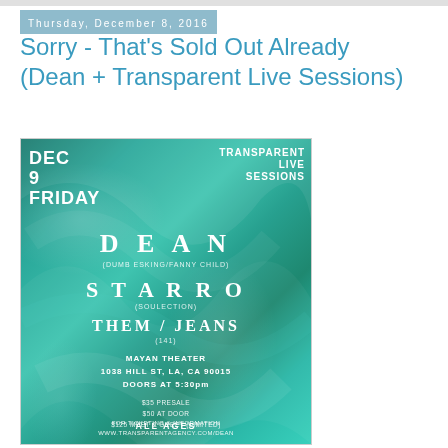Thursday, December 8, 2016
Sorry - That's Sold Out Already (Dean + Transparent Live Sessions)
[Figure (illustration): Event flyer for Transparent Live Sessions featuring DEAN, STARRO (Soulection), and Them/Jeans (141) at Mayan Theater, 1038 Hill St, LA, CA 90015, Doors at 5:30pm. Dec 9, Friday. $35 Presale, $50 At Door, $125 Meet & Greet (Limited). All Ages. For ticketing & information: www.transparentagency.com/dean. Teal/green marble swirl background with white text.]